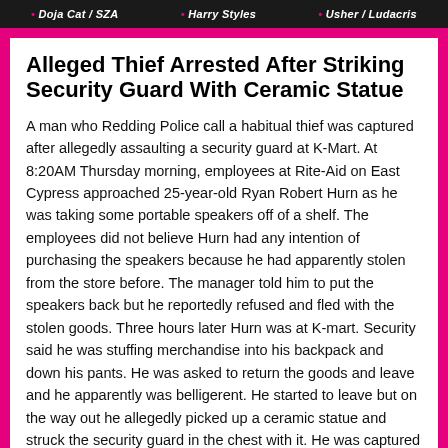Doja Cat / SZA • Harry Styles • Usher / Ludacris
Alleged Thief Arrested After Striking Security Guard With Ceramic Statue
A man who Redding Police call a habitual thief was captured after allegedly assaulting a security guard at K-Mart. At 8:20AM Thursday morning, employees at Rite-Aid on East Cypress approached 25-year-old Ryan Robert Hurn as he was taking some portable speakers off of a shelf. The employees did not believe Hurn had any intention of purchasing the speakers because he had apparently stolen from the store before. The manager told him to put the speakers back but he reportedly refused and fled with the stolen goods. Three hours later Hurn was at K-mart. Security said he was stuffing merchandise into his backpack and down his pants. He was asked to return the goods and leave and he apparently was belligerent. He started to leave but on the way out he allegedly picked up a ceramic statue and struck the security guard in the chest with it. He was captured by Redding Police a short distance away and booked into jail for robbery and assault with a deadly weapon. So far this year Hurn has been booked into Shasta County Jail four times and has also